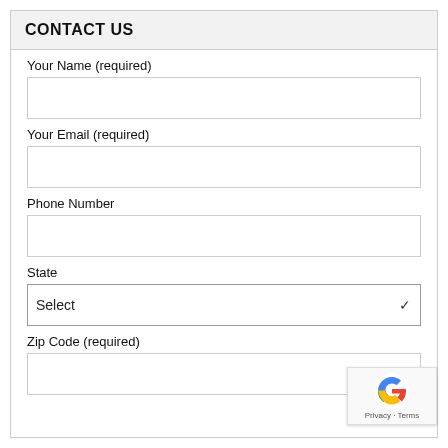CONTACT US
Your Name (required)
Your Email (required)
Phone Number
State
Zip Code (required)